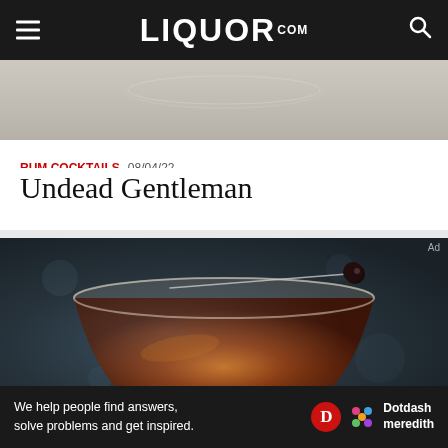LIQUOR.COM
[Figure (photo): Top portion of cocktail glass on light marble/stone background]
RUM COCKTAILS  08/04/22
Undead Gentleman
[Figure (photo): Dark cocktail in a coupe glass with a skewered cherry garnish, on a dark teal/slate background]
We help people find answers, solve problems and get inspired.  Dotdash meredith